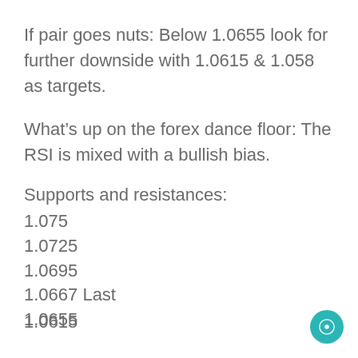If pair goes nuts: Below 1.0655 look for further downside with 1.0615 & 1.058 as targets.
What's up on the forex dance floor: The RSI is mixed with a bullish bias.
Supports and resistances:
1.075
1.0725
1.0695
1.0667 Last
1.0655
1.0615